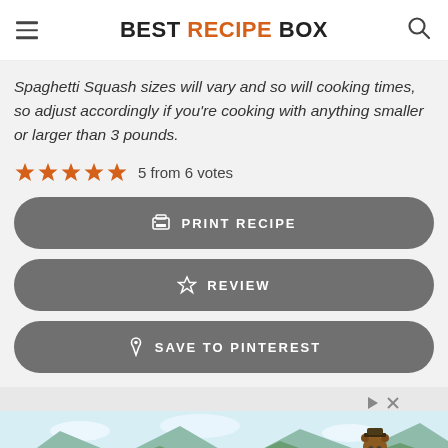BEST RECIPE BOX
Spaghetti Squash sizes will vary and so will cooking times, so adjust accordingly if you're cooking with anything smaller or larger than 3 pounds.
5 from 6 votes
PRINT RECIPE
REVIEW
SAVE TO PINTEREST
[Figure (screenshot): Advertisement area with Smokey Bear forest service ad at bottom, play/close controls top right]